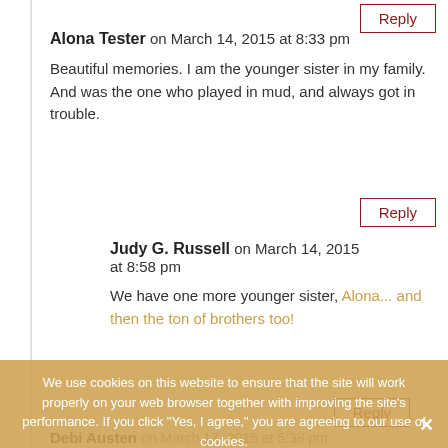Reply (button at top right)
Alona Tester on March 14, 2015 at 8:33 pm
Beautiful memories. I am the younger sister in my family. And was the one who played in mud, and always got in trouble.
Reply
Judy G. Russell on March 14, 2015 at 8:58 pm
We have one more younger sister, Alona... and then the ton of brothers too!
Reply
We use cookies on this website to ensure that the site will work properly on your web browser together with improving the site's performance. If you click "Yes, I agree," you are agreeing to our use of cookies.
Yes, I agree   Privacy Policy
Debi Austen on March 17, 2015 at 5:38 pm